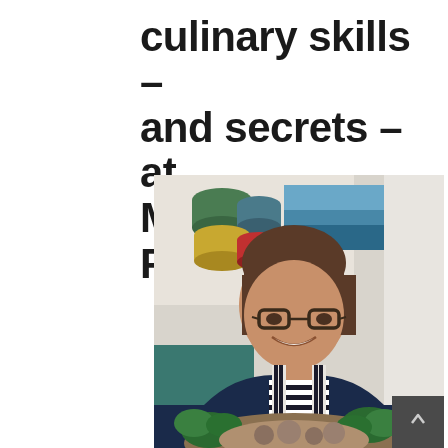culinary skills – and secrets – at Moree on a Plate
[Figure (photo): A smiling woman with short brown hair and glasses, wearing a navy striped apron over a sleeveless top, holding a platter of food with leafy greens and other items. She is indoors in a kitchen-like setting with colourful tins on shelves in the background. A dark grey scroll-up button overlay appears in the bottom right corner of the image.]